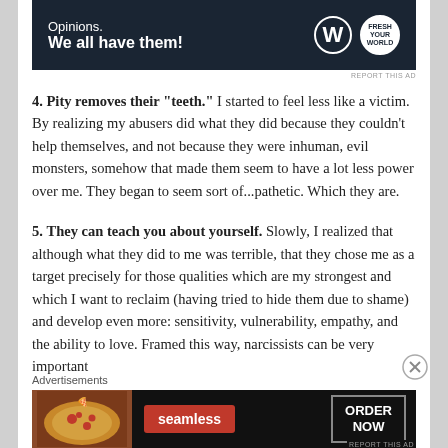[Figure (other): WordPress 'Opinions. We all have them!' advertisement banner with dark navy background, WordPress W logo and circular badge logo on right]
4. Pity removes their "teeth." I started to feel less like a victim. By realizing my abusers did what they did because they couldn't help themselves, and not because they were inhuman, evil monsters, somehow that made them seem to have a lot less power over me. They began to seem sort of...pathetic. Which they are.
5. They can teach you about yourself. Slowly, I realized that although what they did to me was terrible, that they chose me as a target precisely for those qualities which are my strongest and which I want to reclaim (having tried to hide them due to shame) and develop even more: sensitivity, vulnerability, empathy, and the ability to love. Framed this way, narcissists can be very important
Advertisements
[Figure (other): Seamless food delivery advertisement with pizza image on left, red Seamless badge, and ORDER NOW button on dark background]